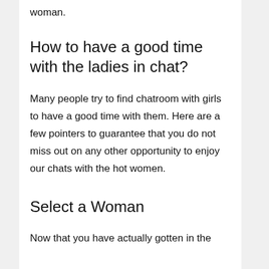woman.
How to have a good time with the ladies in chat?
Many people try to find chatroom with girls to have a good time with them. Here are a few pointers to guarantee that you do not miss out on any other opportunity to enjoy our chats with the hot women.
Select a Woman
Now that you have actually gotten in the